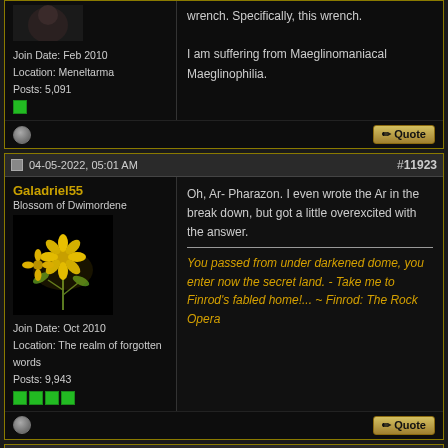Join Date: Feb 2010
Location: Meneltarma
Posts: 5,091
wrench. Specifically, this wrench.

I am suffering from Maeglinomaniacal Maeglinophilia.
04-05-2022, 05:01 AM
#11923
Galadriel55
Blossom of Dwimordene
[Figure (photo): Yellow flowers avatar image for Galadriel55]
Join Date: Oct 2010
Location: The realm of forgotten words
Posts: 9,943
Oh, Ar- Pharazon. I even wrote the Ar in the break down, but got a little overexcited with the answer.

You passed from under darkened dome, you enter now the secret land. - Take me to Finrod's fabled home!... ~ Finrod: The Rock Opera
04-05-2022, 12:16 PM
#11924
Pervinca Took
Ghost Prince of Cardolan
Quote: